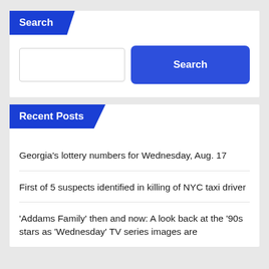Search
[Figure (screenshot): Search input field and Search button]
Recent Posts
Georgia’s lottery numbers for Wednesday, Aug. 17
First of 5 suspects identified in killing of NYC taxi driver
‘Addams Family’ then and now: A look back at the ’90s stars as ‘Wednesday’ TV series images are